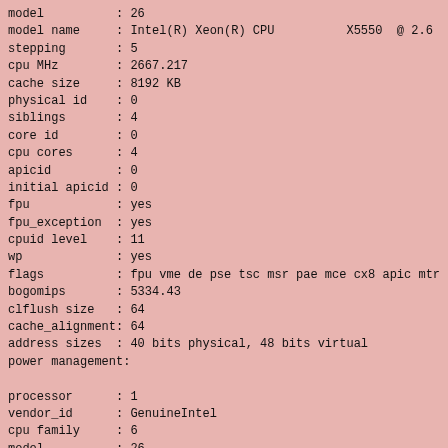model          : 26
model name     : Intel(R) Xeon(R) CPU          X5550  @ 2.6
stepping       : 5
cpu MHz        : 2667.217
cache size     : 8192 KB
physical id    : 0
siblings       : 4
core id        : 0
cpu cores      : 4
apicid         : 0
initial apicid : 0
fpu            : yes
fpu_exception  : yes
cpuid level    : 11
wp             : yes
flags          : fpu vme de pse tsc msr pae mce cx8 apic mtr
bogomips       : 5334.43
clflush size   : 64
cache_alignment: 64
address sizes  : 40 bits physical, 48 bits virtual
power management:

processor      : 1
vendor_id      : GenuineIntel
cpu family     : 6
model          : 26
model name     : Intel(R) Xeon(R) CPU          X5550  @ 2.6
stepping       : 5
cpu MHz        : 2667.217
cache size     : 8192 KB
physical id    : 1
siblings       : 4